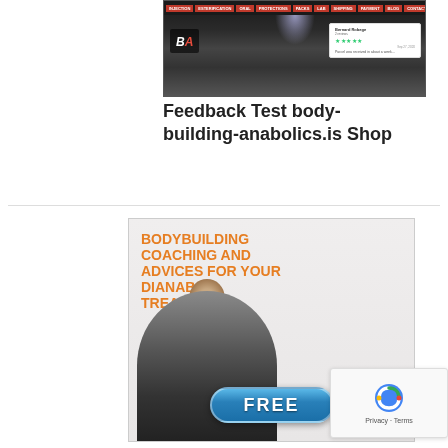[Figure (screenshot): Screenshot of body-building-anabolics.is website showing navigation bar, BBA logo, and a Trustpilot-style review overlay]
Feedback Test body-building-anabolics.is Shop
[Figure (illustration): Advertisement banner: BODYBUILDING COACHING AND ADVICES FOR YOUR DIANABOL TREATMENTS with a muscular figure silhouette and a blue FREE button]
[Figure (logo): Google reCAPTCHA widget showing Privacy - Terms]